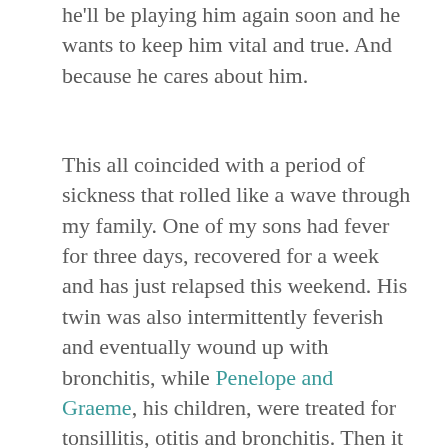he'll be playing him again soon and he wants to keep him vital and true. And because he cares about him.
This all coincided with a period of sickness that rolled like a wave through my family. One of my sons had fever for three days, recovered for a week and has just relapsed this weekend. His twin was also intermittently feverish and eventually wound up with bronchitis, while Penelope and Graeme, his children, were treated for tonsillitis, otitis and bronchitis. Then it was my turn. Two weeks in, I'm still coughing, but at least my strength has returned.
Until this recent family epidemic, I hadn't been ill for several years. Sick with fever last weekend and feeling weak and wobbly, I felt vulnerable and diminished and a bit scared. I couldn't be sure that I'd